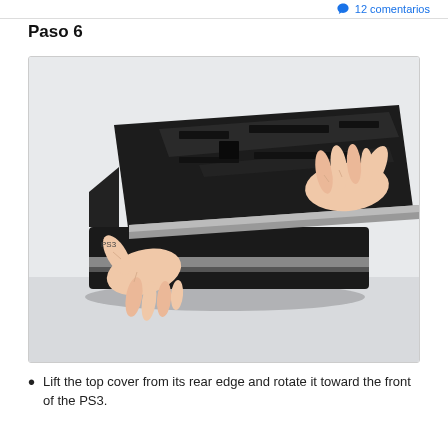12 comentarios
Paso 6
[Figure (photo): Hands lifting the top cover of a PS3 console from its rear edge, showing the interior black plastic shell and silver trim being rotated upward.]
Lift the top cover from its rear edge and rotate it toward the front of the PS3.